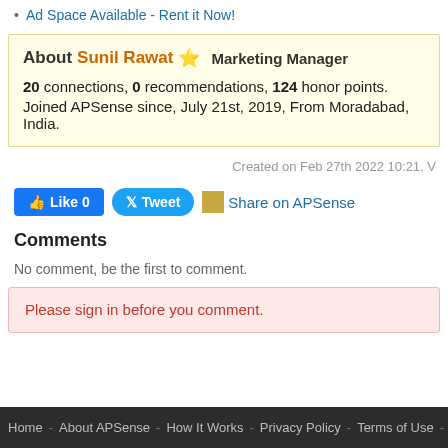Ad Space Available - Rent it Now!
About Sunil Rawat ⭐ Marketing Manager
20 connections, 0 recommendations, 124 honor points.
Joined APSense since, July 21st, 2019, From Moradabad, India.
Created on Feb 27th 2022 10:21. V
Like 0   Tweet   Share on APSense
Comments
No comment, be the first to comment.
Please sign in before you comment.
Home - About APSense - How It Works - Privacy Policy - Terms of Use - Contact Us